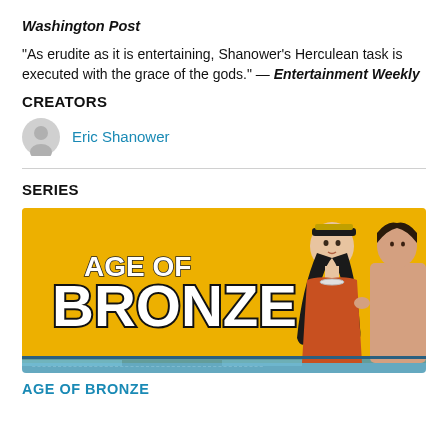Washington Post
“As erudite as it is entertaining, Shanower’s Herculean task is executed with the grace of the gods.” — Entertainment Weekly
CREATORS
Eric Shanower
SERIES
[Figure (illustration): Age of Bronze comic series banner image showing two figures (a woman and a man) against a yellow/gold background with the text AGE OF BRONZE prominently displayed]
AGE OF BRONZE